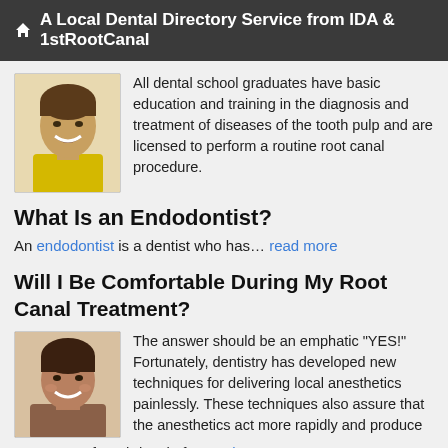A Local Dental Directory Service from IDA & 1stRootCanal
[Figure (photo): Young smiling man in yellow shirt, headshot]
All dental school graduates have basic education and training in the diagnosis and treatment of diseases of the tooth pulp and are licensed to perform a routine root canal procedure.
What Is an Endodontist?
An endodontist is a dentist who has… read more
Will I Be Comfortable During My Root Canal Treatment?
[Figure (photo): Smiling woman, headshot]
The answer should be an emphatic "YES!" Fortunately, dentistry has developed new techniques for delivering local anesthetics painlessly. These techniques also assure that the anesthetics act more rapidly and produce a more "profound" level of… read more